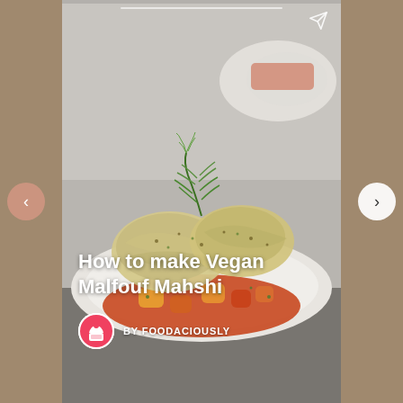[Figure (photo): A plate of Vegan Malfouf Mahshi — stuffed cabbage rolls on a white plate with tomato sauce and vegetable chunks, garnished with fresh dill and herbs, with a blurred plate in the background.]
How to make Vegan Malfouf Mahshi
BY FOODACIOUSLY